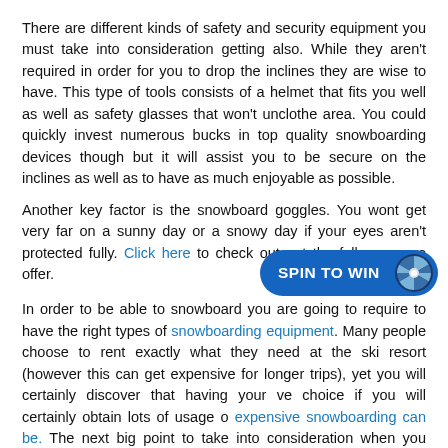There are different kinds of safety and security equipment you must take into consideration getting also. While they aren't required in order for you to drop the inclines they are wise to have. This type of tools consists of a helmet that fits you well as well as safety glasses that won't unclothe area. You could quickly invest numerous bucks in top quality snowboarding devices though but it will assist you to be secure on the inclines as well as to have as much enjoyable as possible.
Another key factor is the snowboard goggles. You wont get very far on a sunny day or a snowy day if your eyes aren't protected fully. Click here to check out out the full range we offer.
In order to be able to snowboard you are going to require to have the right types of snowboarding equipment. Many people choose to rent exactly what they need at the ski resort (however this can get expensive for longer trips), yet you will certainly discover that having your ve[...] choice if you will certainly obtain lots of usage o[...] expensive snowboarding can be. The next big point to take into consideration when you shop for snowboarding tools are your boots. You can conveniently spend hundreds of dollars in top quality snowboarding equipment though however it will certainly aid you to be secure on the slopes and to have as much enjoyable as feasible.
[Figure (other): A blue 'SPIN TO WIN' button/widget with a spinning wheel icon on the right side, overlaid on the text content.]